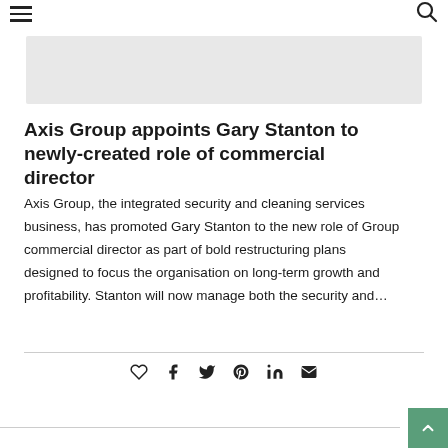☰ [hamburger menu] [search icon]
[Figure (photo): Gray placeholder image banner at top of article]
Axis Group appoints Gary Stanton to newly-created role of commercial director
Axis Group, the integrated security and cleaning services business, has promoted Gary Stanton to the new role of Group commercial director as part of bold restructuring plans designed to focus the organisation on long-term growth and profitability. Stanton will now manage both the security and…
Social share icons: heart, facebook, twitter, pinterest, linkedin, email